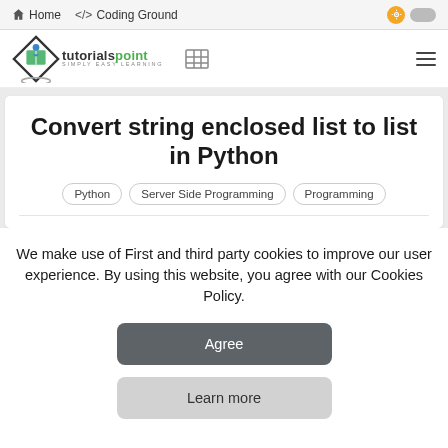Home   </> Coding Ground
[Figure (logo): Tutorialspoint logo with diamond shape and 'tutorialspoint SIMPLY EASY LEARNING' text, table grid icon, and hamburger menu]
Convert string enclosed list to list in Python
Python
Server Side Programming
Programming
We make use of First and third party cookies to improve our user experience. By using this website, you agree with our Cookies Policy.
Agree
Learn more